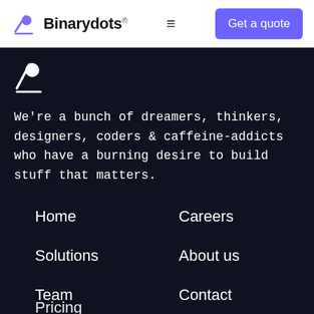Binarydots
[Figure (logo): Binarydots logo - white version on dark background]
We're a bunch of dreamers, thinkers, designers, coders & caffeine-addicts who have a burning desire to build stuff that matters.
Home
Careers
Solutions
About us
Team
Contact
Pricing